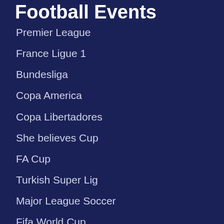Football Events
Premier League
France Ligue 1
Bundesliga
Copa America
Copa Libertadores
She believes Cup
FA Cup
Turkish Super Lig
Major League Soccer
Fifa World Cup